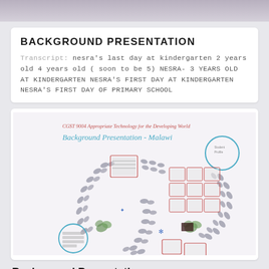BACKGROUND PRESENTATION
Transcript: nesra's last day at kindergarten 2 years old 4 years old ( soon to be 5) NESRA- 3 YEARS OLD AT KINDERGARTEN NESRA'S FIRST DAY AT KINDERGARTEN NESRA'S FIRST DAY OF PRIMARY SCHOOL
[Figure (screenshot): Screenshot of a Prezi presentation titled 'CGST 9004 Appropriate Technology for the Developing World - Background Presentation - Malawi'. Shows a mind-map style presentation with footstep/path graphics, small boxes with images, plant illustrations, and two circular elements. The layout is on a light background with scattered decorative elements forming a winding path.]
Background Presentation